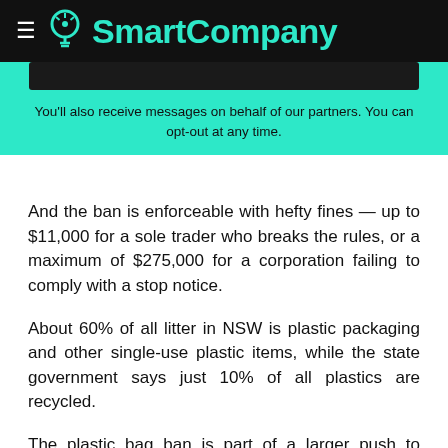SmartCompany
You'll also receive messages on behalf of our partners. You can opt-out at any time.
And the ban is enforceable with hefty fines — up to $11,000 for a sole trader who breaks the rules, or a maximum of $275,000 for a corporation failing to comply with a stop notice.
About 60% of all litter in NSW is plastic packaging and other single-use plastic items, while the state government says just 10% of all plastics are recycled.
The plastic bag ban is part of a larger push to reduce single-use plastics. In November, plastic straws, stirrers, cutlery, plates and cotton buds, as well as polystyrene plates and cups, will also be banned in NSW.